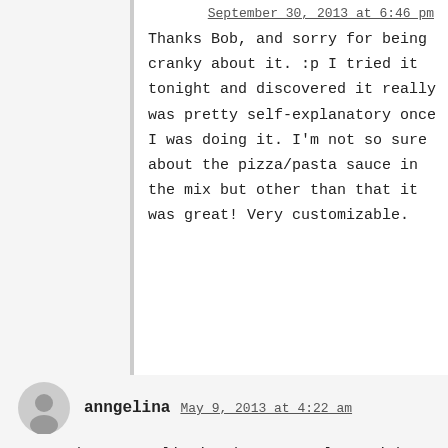September 30, 2013 at 6:46 pm
Thanks Bob, and sorry for being cranky about it. :p I tried it tonight and discovered it really was pretty self-explanatory once I was doing it. I'm not so sure about the pizza/pasta sauce in the mix but other than that it was great! Very customizable.
anngelina
May 9, 2013 at 4:22 am
we used some garlic in there too along with some salt and pepper and we used regular